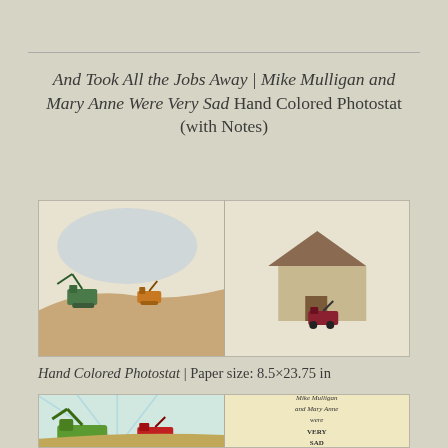And Took All the Jobs Away | Mike Mulligan and Mary Anne Were Very Sad Hand Colored Photostat (with Notes)
[Figure (photo): Two-panel hand colored photostat image. Left panel shows illustration of construction machines (steam shovels) on a hill with blue sky. Right panel shows a small house with a machine at its base.]
Hand Colored Photostat | Paper size: 8.5×23.75 in
[Figure (photo): Two-panel image showing bottom portion. Left panel: colorful illustration of green and red construction machines. Right panel: yellowed page with text reading 'Mike Mulligan and Mary Anne were VERY SAD'.]